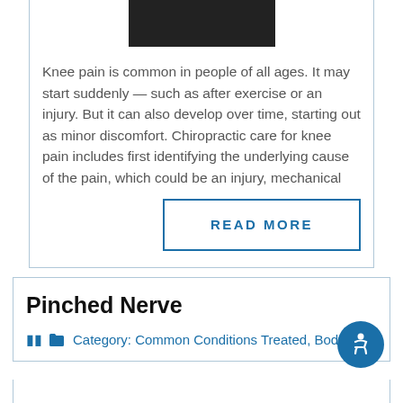[Figure (photo): Black and white close-up photo of a person's face/head (partial view at top of card)]
Knee pain is common in people of all ages. It may start suddenly — such as after exercise or an injury. But it can also develop over time, starting out as minor discomfort. Chiropractic care for knee pain includes first identifying the underlying cause of the pain, which could be an injury, mechanical
READ MORE
Pinched Nerve
Category: Common Conditions Treated, Body Pain